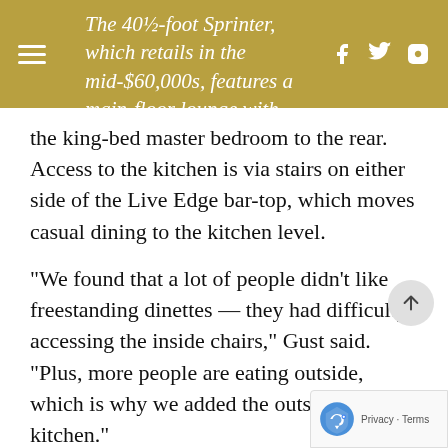The 40½-foot Sprinter, which retails in the mid-$60,000s, features a main-floor lounge with
the king-bed master bedroom to the rear. Access to the kitchen is via stairs on either side of the Live Edge bar-top, which moves casual dining to the kitchen level.
“We found that a lot of people didn’t like freestanding dinettes — they had difficulty accessing the inside chairs,” Gust said. “Plus, more people are eating outside, which is why we added the outside kitchen.”
With an 11,200-pound GVWR, the full-profile fifth-wheel also features new Aspen Oak wood tones inside, along with a host of pet-friendly features including a leash holder affixed near entry door, a drawer with food bowls and a